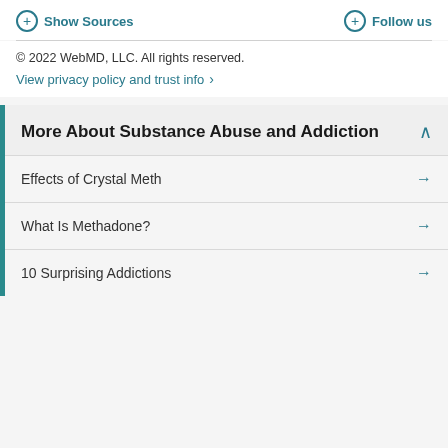Show Sources | Follow us
© 2022 WebMD, LLC. All rights reserved.
View privacy policy and trust info →
More About Substance Abuse and Addiction
Effects of Crystal Meth
What Is Methadone?
10 Surprising Addictions